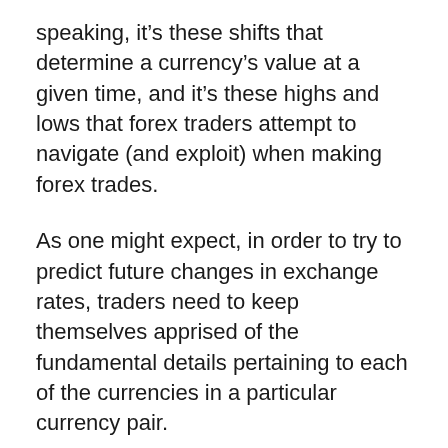speaking, it's these shifts that determine a currency's value at a given time, and it's these highs and lows that forex traders attempt to navigate (and exploit) when making forex trades.
As one might expect, in order to try to predict future changes in exchange rates, traders need to keep themselves apprised of the fundamental details pertaining to each of the currencies in a particular currency pair.
With all of the major currency pairs, traders can go long, or short one currency against another (though some of the less-actively traded national currencies are subject to exchange rate